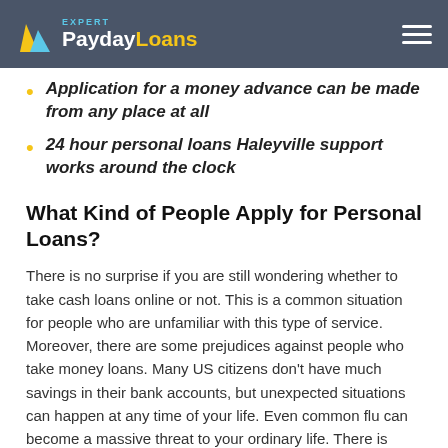PaydayLoans Expert
Application for a money advance can be made from any place at all
24 hour personal loans Haleyville support works around the clock
What Kind of People Apply for Personal Loans?
There is no surprise if you are still wondering whether to take cash loans online or not. This is a common situation for people who are unfamiliar with this type of service. Moreover, there are some prejudices against people who take money loans. Many US citizens don't have much savings in their bank accounts, but unexpected situations can happen at any time of your life. Even common flu can become a massive threat to your ordinary life. There is nothing different in borrowing money from your friend or